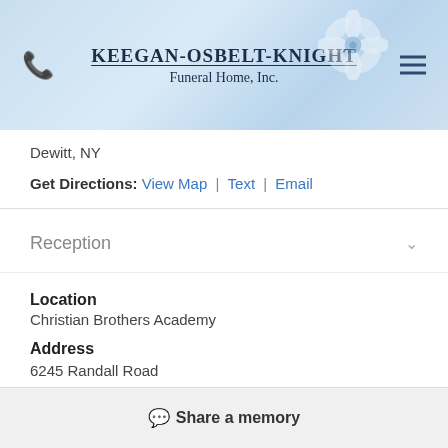KEEGAN-OSBELT-KNIGHT Funeral Home, Inc.
Dewitt, NY
Get Directions: View Map | Text | Email
Reception
Location
Christian Brothers Academy
Address
6245 Randall Road
SYRACUSE, NY
Get Directions: View Map | Text | Email
Share a memory